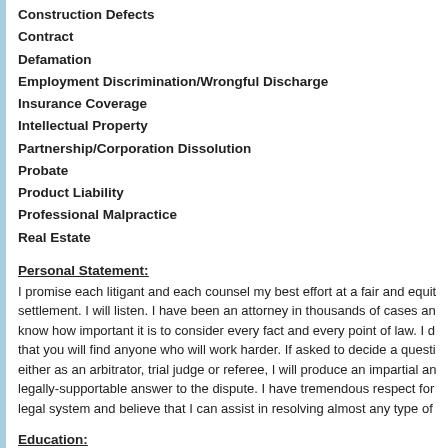Construction Defects
Contract
Defamation
Employment Discrimination/Wrongful Discharge
Insurance Coverage
Intellectual Property
Partnership/Corporation Dissolution
Probate
Product Liability
Professional Malpractice
Real Estate
Personal Statement:
I promise each litigant and each counsel my best effort at a fair and equit settlement. I will listen. I have been an attorney in thousands of cases an know how important it is to consider every fact and every point of law. I d that you will find anyone who will work harder. If asked to decide a questi either as an arbitrator, trial judge or referee, I will produce an impartial an legally-supportable answer to the dispute. I have tremendous respect for legal system and believe that I can assist in resolving almost any type of
Education:
J.D., Hastings College of the Law, 1969
(American Jurisprudence Award, Wills)